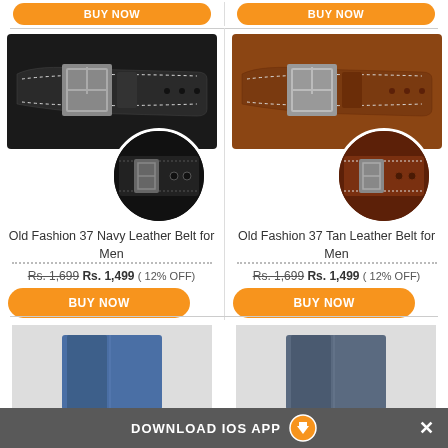[Figure (screenshot): E-commerce product listing page showing leather belts with prices and buy now buttons]
Old Fashion 37 Navy Leather Belt for Men
Rs. 1,699 Rs. 1,499 ( 12% OFF)
Old Fashion 37 Tan Leather Belt for Men
Rs. 1,699 Rs. 1,499 ( 12% OFF)
DOWNLOAD IOS APP